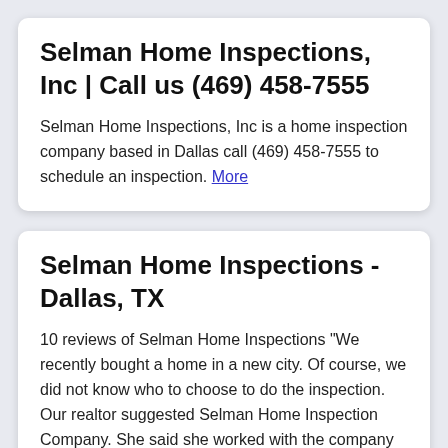Selman Home Inspections, Inc | Call us (469) 458-7555
Selman Home Inspections, Inc is a home inspection company based in Dallas call (469) 458-7555 to schedule an inspection. More
Selman Home Inspections - Dallas, TX
10 reviews of Selman Home Inspections "We recently bought a home in a new city. Of course, we did not know who to choose to do the inspection. Our realtor suggested Selman Home Inspection Company. She said she worked with the company